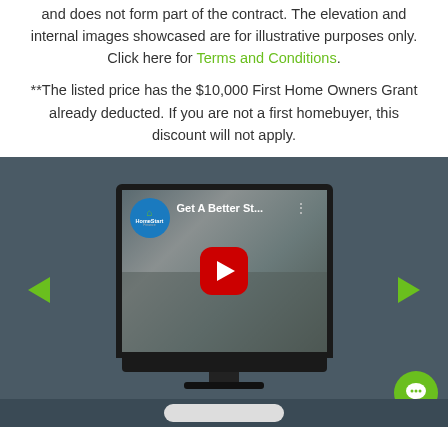and does not form part of the contract. The elevation and internal images showcased are for illustrative purposes only. Click here for Terms and Conditions.
**The listed price has the $10,000 First Home Owners Grant already deducted. If you are not a first homebuyer, this discount will not apply.
[Figure (screenshot): A TV monitor displaying a YouTube video thumbnail with the title 'Get A Better St...' and a red play button in the center. A HomeStart Finance logo appears in the top-left of the video. Green arrow navigation buttons appear on left and right sides of the TV. A green chat bubble icon appears in the bottom-right corner.]